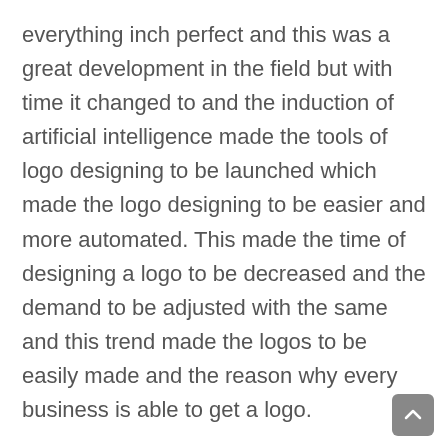everything inch perfect and this was a great development in the field but with time it changed to and the induction of artificial intelligence made the tools of logo designing to be launched which made the logo designing to be easier and more automated. This made the time of designing a logo to be decreased and the demand to be adjusted with the same and this trend made the logos to be easily made and the reason why every business is able to get a logo.
Well, the field has grown in the times and it will continue to grow as it has been predicted by the specialists in the industry. Also, we have seen the trends changing and people are expecting that new